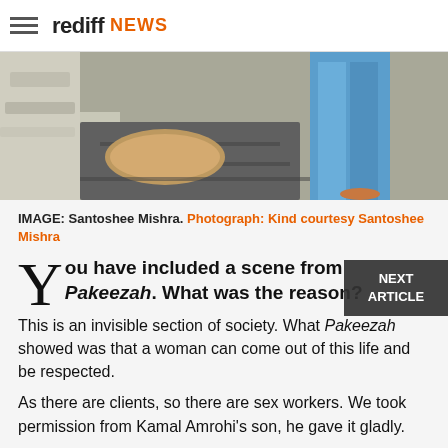rediff NEWS
[Figure (photo): Cropped photo of Santoshee Mishra, showing lower portion with blue jeans and stone/rubble ground background]
IMAGE: Santoshee Mishra. Photograph: Kind courtesy Santoshee Mishra
You have included a scene from Pakeezah. What was the reason?
This is an invisible section of society. What Pakeezah showed was that a woman can come out of this life and be respected.
As there are clients, so there are sex workers. We took permission from Kamal Amrohi's son, he gave it gladly.
Do you feel you have achieved what you set out to do when you saw the completed film?
Yes! The script is mine. People have accepted that they